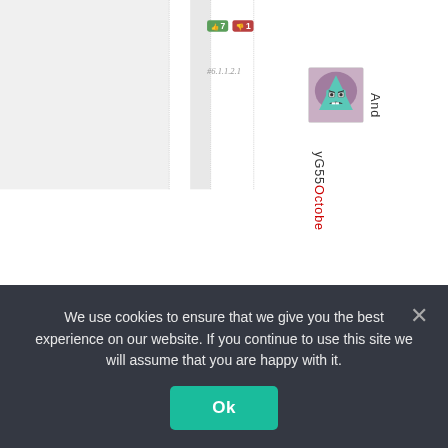[Figure (screenshot): Vote count badges showing thumbs up 7 and thumbs down 1 in green and red rounded rectangles]
#6.1.1.2.1
[Figure (illustration): Avatar image of an animated cartoon pyramid character with a grimacing face on a pinkish-purple background]
And
yG550ctobe
We use cookies to ensure that we give you the best experience on our website. If you continue to use this site we will assume that you are happy with it.
Ok